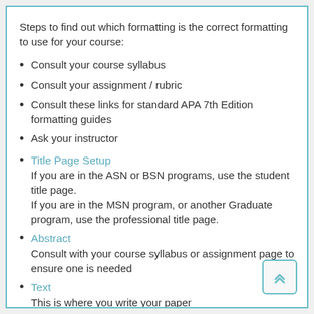Steps to find out which formatting is the correct formatting to use for your course:
Consult your course syllabus
Consult your assignment / rubric
Consult these links for standard APA 7th Edition formatting guides
Ask your instructor
Title Page Setup
If you are in the ASN or BSN programs, use the student title page.
If you are in the MSN program, or another Graduate program, use the professional title page.
Abstract
Consult with your course syllabus or assignment page to ensure one is needed
Text
This is where you write your paper
References
References provide the information necessary for readers to